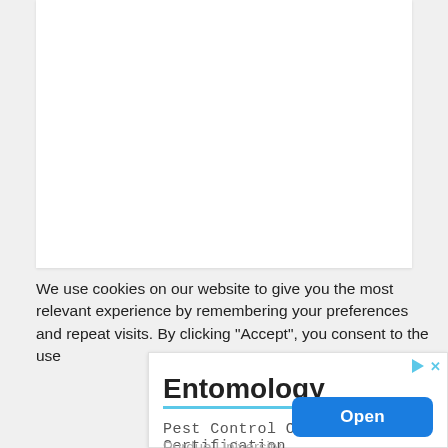[Figure (other): White content area / document page top section (blank)]
We use cookies on our website to give you the most relevant experience by remembering your preferences and repeat visits. By clicking "Accept", you consent to the use
[Figure (infographic): Advertisement banner for Purdue University Entomology Pest Control Operator Certification with an Open button]
Entomology — Pest Control Operator Certification — Purdue University — Open